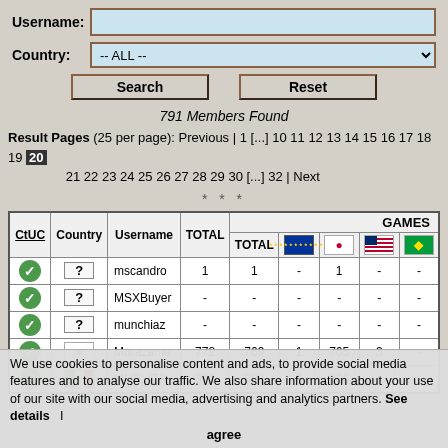Username:
Country: -- ALL --
Search | Reset
791 Members Found
Result Pages (25 per page): Previous | 1 [...] 10 11 12 13 14 15 16 17 18 19 20 21 22 23 24 25 26 27 28 29 30 [...] 32 | Next
| CtUC | Country | Username | TOTAL | TOTAL | EU | JP | US | BR |
| --- | --- | --- | --- | --- | --- | --- | --- | --- |
| ✓ | ? | mscandro | 1 | 1 | - | 1 | - | - |
| ✓ | ? | MSXBuyer | - | - | - | - | - | - |
| ✓ | ? | munchiaz | - | - | - | - | - | - |
| ✓ | JP | Murazame | 772 | 769 | 1 | 765 | 3 | - |
| ✓ | IT | MUR_ITA | 391 | 389 | 3 | 386 | - | - |
We use cookies to personalise content and ads, to provide social media features and to analyse our traffic. We also share information about your use of our site with our social media, advertising and analytics partners. See details | I agree